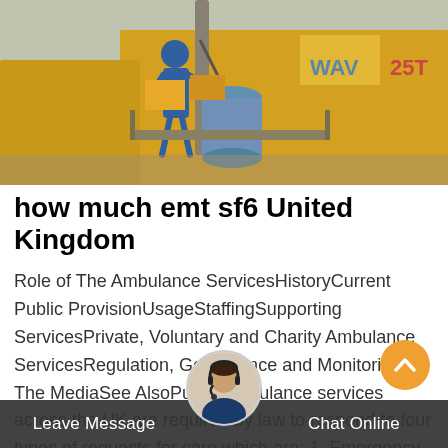[Figure (photo): A worker in a blue helmet and overalls working on large yellow industrial equipment or truck, with machinery and a barrel visible, outdoors.]
how much emt sf6 United Kingdom
Role of The Ambulance ServicesHistoryCurrent Public ProvisionUsageStaffingSupporting ServicesPrivate, Voluntary and Charity Ambulance ServicesRegulation, Governance and Monitoringin The MediaSee AlsoPublic ambulance services across the UK are required by law to respond to four types of requests for care,which are: 1. Emergency calls (via the 999 or 112system) 2. Doctor's urgent admission requests 3. High dependency and urgent inter-hospital transfers 4. Major incidents Ambulance trusts and services may also undertake nSee more on
Leave Message   Chat Online